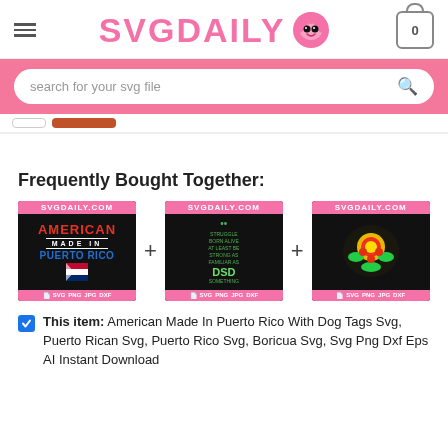SVGDAILY
search for your svg file
Frequently Bought Together:
[Figure (screenshot): Three product thumbnail images from SVGDAILY.COM showing SVG file products, connected by plus signs. First: 'American Made In Puerto Rico' SVG with dog tags. Second: Green text SVG on dark background with DSD text. Third: Colorful cartoon character on dark background. Each has pink header 'SVGDAILY.COM' and pink footer with SVG PNG JPG DXF labels.]
This item: American Made In Puerto Rico With Dog Tags Svg, Puerto Rican Svg, Puerto Rico Svg, Boricua Svg, Svg Png Dxf Eps AI Instant Download